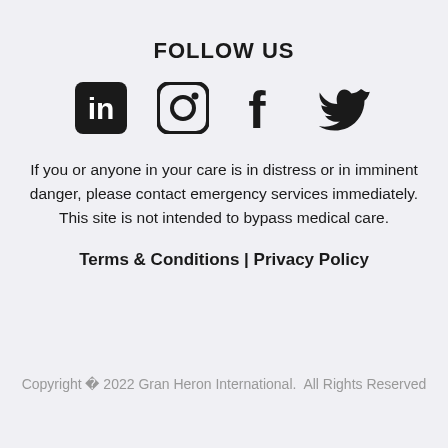FOLLOW US
[Figure (illustration): Four social media icons in a row: LinkedIn, Instagram, Facebook, Twitter]
If you or anyone in your care is in distress or in imminent danger, please contact emergency services immediately. This site is not intended to bypass medical care.
Terms & Conditions | Privacy Policy
Copyright © 2022 Gran Heron International. All Rights Reserved